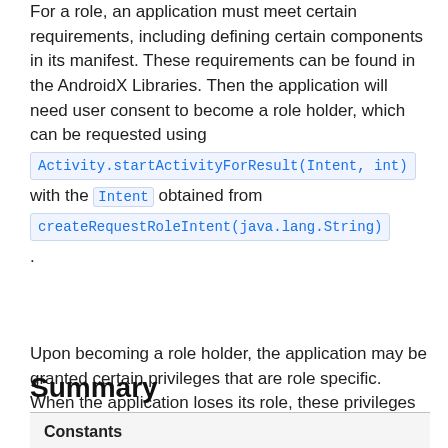For a role, an application must meet certain requirements, including defining certain components in its manifest. These requirements can be found in the AndroidX Libraries. Then the application will need user consent to become a role holder, which can be requested using Activity.startActivityForResult(Intent, int) with the Intent obtained from createRequestRoleIntent(java.lang.String).
Upon becoming a role holder, the application may be granted certain privileges that are role specific. When the application loses its role, these privileges will also be revoked.
Summary
| Constants |
| --- |